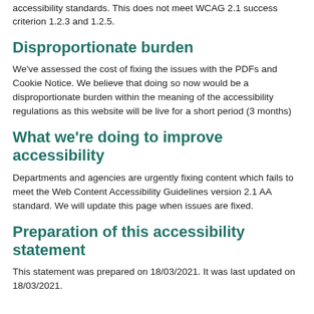publish new content we'll make sure our use of video meets accessibility standards. This does not meet WCAG 2.1 success criterion 1.2.3 and 1.2.5.
Disproportionate burden
We've assessed the cost of fixing the issues with the PDFs and Cookie Notice. We believe that doing so now would be a disproportionate burden within the meaning of the accessibility regulations as this website will be live for a short period (3 months)
What we're doing to improve accessibility
Departments and agencies are urgently fixing content which fails to meet the Web Content Accessibility Guidelines version 2.1 AA standard. We will update this page when issues are fixed.
Preparation of this accessibility statement
This statement was prepared on 18/03/2021. It was last updated on 18/03/2021.